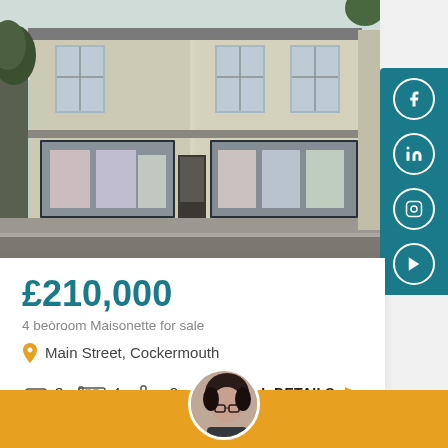[Figure (photo): Street-facing photo of a two-storey commercial/residential building on Main Street, Cockermouth. Cream-coloured facade with grey trim, large shop windows on ground floor, trees visible on left.]
£210,000
4 bedroom Maisonette for sale
Main Street, Cockermouth
3 4 2
FULL DETAILS →
[Figure (photo): Circular avatar photo of a female estate agent with dark hair and glasses, partially visible at bottom of page.]